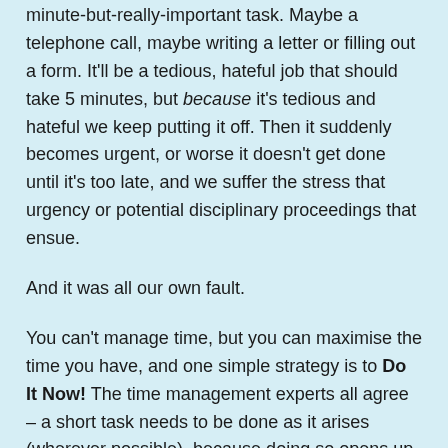minute-but-really-important task. Maybe a telephone call, maybe writing a letter or filling out a form. It'll be a tedious, hateful job that should take 5 minutes, but because it's tedious and hateful we keep putting it off. Then it suddenly becomes urgent, or worse it doesn't get done until it's too late, and we suffer the stress that urgency or potential disciplinary proceedings that ensue.
And it was all our own fault.
You can't manage time, but you can maximise the time you have, and one simple strategy is to Do It Now! The time management experts all agree – a short task needs to be done as it arises (wherever possible), because doing so opens up available time for the more important stuff to be done properly. It clears space in your head, and it is an inoculation against the stress caused by